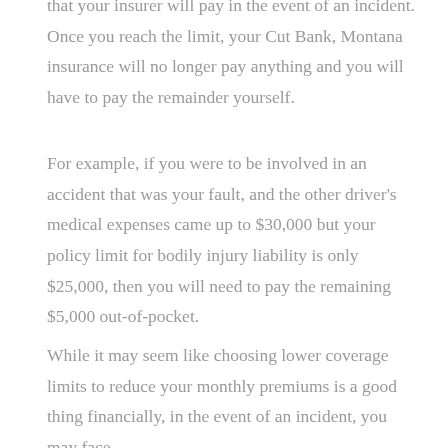that your insurer will pay in the event of an incident. Once you reach the limit, your Cut Bank, Montana insurance will no longer pay anything and you will have to pay the remainder yourself.
For example, if you were to be involved in an accident that was your fault, and the other driver's medical expenses came up to $30,000 but your policy limit for bodily injury liability is only $25,000, then you will need to pay the remaining $5,000 out-of-pocket.
While it may seem like choosing lower coverage limits to reduce your monthly premiums is a good thing financially, in the event of an incident, you may face